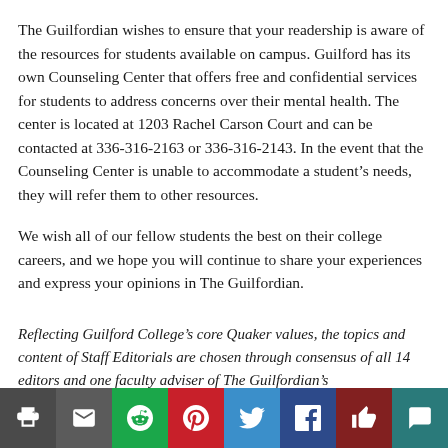The Guilfordian wishes to ensure that your readership is aware of the resources for students available on campus. Guilford has its own Counseling Center that offers free and confidential services for students to address concerns over their mental health. The center is located at 1203 Rachel Carson Court and can be contacted at 336-316-2163 or 336-316-2143. In the event that the Counseling Center is unable to accommodate a student's needs, they will refer them to other resources.
We wish all of our fellow students the best on their college careers, and we hope you will continue to share your experiences and express your opinions in The Guilfordian.
Reflecting Guilford College's core Quaker values, the topics and content of Staff Editorials are chosen through consensus of all 14 editors and one faculty adviser of The Guilfordian's
[Figure (infographic): Social media sharing bar with icons for print, email, Reddit, Pinterest, Twitter, Facebook, like/thumbs-up, and comment]